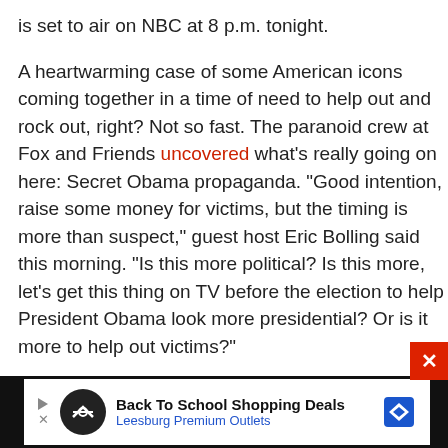is set to air on NBC at 8 p.m. tonight.
A heartwarming case of some American icons coming together in a time of need to help out and rock out, right? Not so fast. The paranoid crew at Fox and Friends uncovered what's really going on here: Secret Obama propaganda. "Good intention, raise some money for victims, but the timing is more than suspect," guest host Eric Bolling said this morning. "Is this more political? Is this more, let's get this thing on TV before the election to help President Obama look more presidential? Or is it more to help out victims?"
[Figure (screenshot): Advertisement banner at bottom: Back To School Shopping Deals - Leesburg Premium Outlets, with play and close controls on black background]